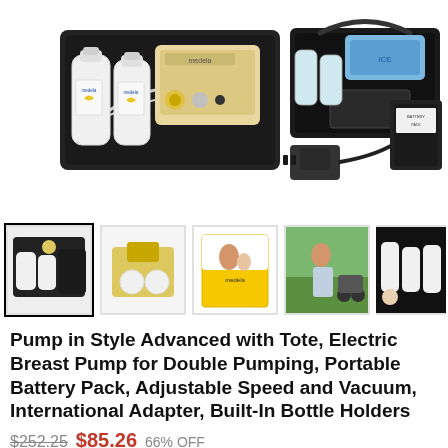[Figure (photo): Medela Pump in Style Advanced breast pump kit laid out showing: pump unit, two bottles with Medela logos, tubing, carrying case/tote bag, power adapter, battery pack, and blue ice pack. All items displayed on white background.]
[Figure (photo): Thumbnail 1 (selected): Full kit laid out on black tote bag with bottles]
[Figure (photo): Thumbnail 2: Pump unit and bottles close-up]
[Figure (photo): Thumbnail 3: Product box packaging with Medela logo and mother/baby image]
[Figure (photo): Thumbnail 4: Woman outdoors using the pump]
[Figure (photo): Thumbnail 5: Tote bag with bottles, partial view]
Pump in Style Advanced with Tote, Electric Breast Pump for Double Pumping, Portable Battery Pack, Adjustable Speed and Vacuum, International Adapter, Built-In Bottle Holders
$252.25  $85.26  66% OFF